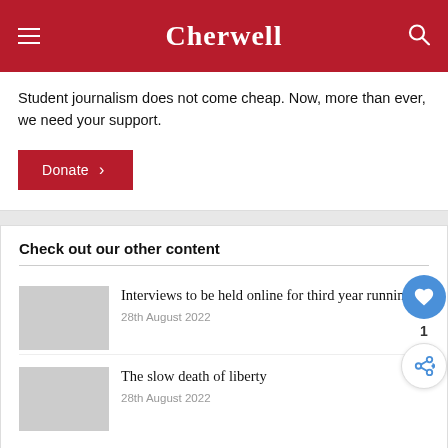Cherwell
Student journalism does not come cheap. Now, more than ever, we need your support.
[Figure (other): Red Donate button with right-arrow chevron]
Check out our other content
Interviews to be held online for third year running
28th August 2022
The slow death of liberty
28th August 2022